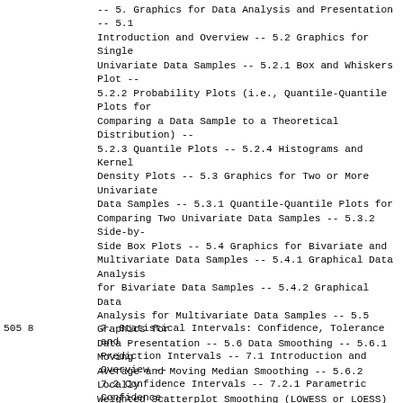-- 5. Graphics for Data Analysis and Presentation -- 5.1 Introduction and Overview -- 5.2 Graphics for Single Univariate Data Samples -- 5.2.1 Box and Whiskers Plot -- 5.2.2 Probability Plots (i.e., Quantile-Quantile Plots for Comparing a Data Sample to a Theoretical Distribution) -- 5.2.3 Quantile Plots -- 5.2.4 Histograms and Kernel Density Plots -- 5.3 Graphics for Two or More Univariate Data Samples -- 5.3.1 Quantile-Quantile Plots for Comparing Two Univariate Data Samples -- 5.3.2 Side-by-Side Box Plots -- 5.4 Graphics for Bivariate and Multivariate Data Samples -- 5.4.1 Graphical Data Analysis for Bivariate Data Samples -- 5.4.2 Graphical Data Analysis for Multivariate Data Samples -- 5.5 Graphics for Data Presentation -- 5.6 Data Smoothing -- 5.6.1 Moving Average and Moving Median Smoothing -- 5.6.2 Locally Weighted Scatterplot Smoothing (LOWESS or LOESS) -- 5.6.2.1 Smoothness Factor and the Degree of the Local Regression -- 5.6.2.2 Basic and Robust LOWESS Weighting Functions -- 5.6.2.3 LOESS Scatterplot Smoothing for Data with Multiple Variables -- Exercises -- 6. Basic Statistical Measures: Descriptive or Summary Statistics -- 6.1 Introduction and Overview -- 6.2 Arithmetic Mean and Weighted Mean -- 6.3 Median and Other Robust Measures of Central Tendency -- 6.4 Standard Deviation, Variance, and Other Measures of Dispersion or Spread -- 6.4.1 Quantiles (Including Percentiles) -- 6.4.2 Robust Measures of Spread : Interquartile Range and Median Absolute Deviation -- 6.5 Skewness and Other Measures of Shape -- 6.6 Outliers -- 6.6.1 Tests for Outliers -- 6.7 Data Transformations -- Exercises -- Part II: Statistical Procedures for Univariate Data
505 8  7. Statistical Intervals: Confidence, Tolerance and Prediction Intervals -- 7.1 Introduction and Overview -- 7.2 Confidence Intervals -- 7.2.1 Parametric Confidence Intervals -- 7.2.1.1 Parametric Confidence Interval around the Arithmetic Mean or Median for Normally Distributed Data -- 7.2.1.2 Lognormal and Other Parametric Confidence Intervals -- 7.2.1.3 Nonparametric Confidence Intervals --